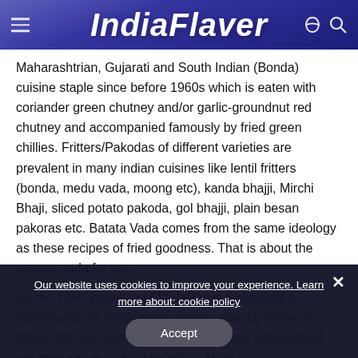IndiaFlaver
Maharashtrian, Gujarati and South Indian (Bonda) cuisine staple since before 1960s which is eaten with coriander green chutney and/or garlic-groundnut red chutney and accompanied famously by fried green chillies. Fritters/Pakodas of different varieties are prevalent in many indian cuisines like lentil fritters (bonda, medu vada, moong etc), kanda bhajji, Mirchi Bhaji, sliced potato pakoda, gol bhajji, plain besan pakoras etc. Batata Vada comes from the same ideology as these recipes of fried goodness. That is about the yummy vada for you.
So the 1966 invention of VadaPao is technically a combination of 2 differently existing popular dishes to create one legendary fastfood type snack which would put itself and the city of its origin, Mumbai on the world food map. The their is no here…
Our website uses cookies to improve your experience. Learn more about: cookie policy